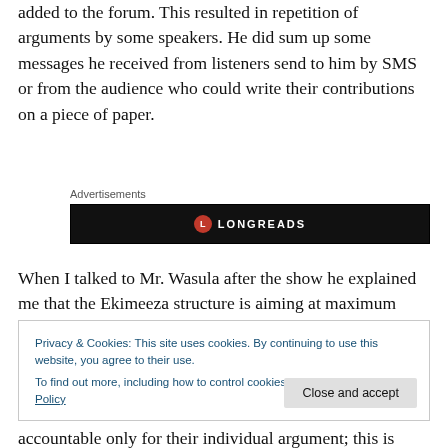added to the forum. This resulted in repetition of arguments by some speakers. He did sum up some messages he received from listeners send to him by SMS or from the audience who could write their contributions on a piece of paper.
[Figure (other): Advertisements banner with Longreads logo on black background]
When I talked to Mr. Wasula after the show he explained me that the Ekimeeza structure is aiming at maximum
Privacy & Cookies: This site uses cookies. By continuing to use this website, you agree to their use.
To find out more, including how to control cookies, see here: Cookie Policy
accountable only for their individual argument; this is what